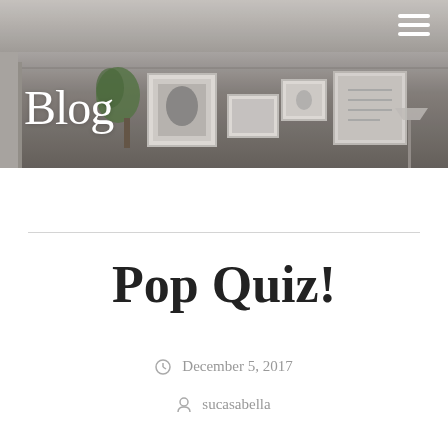[Figure (photo): Interior room photo with gray walls, framed artwork gallery, plant, and lamp in the background serving as blog header image]
Blog
Pop Quiz!
December 5, 2017
sucasabella